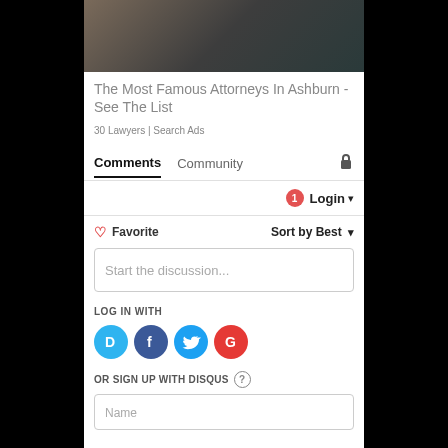[Figure (photo): Partial photo of a person in dark clothing, cropped at top]
The Most Famous Attorneys In Ashburn - See The List
30 Lawyers | Search Ads
Comments  Community  🔒
🔔1  Login ▾
♡ Favorite    Sort by Best ▾
Start the discussion...
LOG IN WITH
[Figure (logo): Social login icons: Disqus (D), Facebook (f), Twitter bird, Google (G)]
OR SIGN UP WITH DISQUS ?
Name